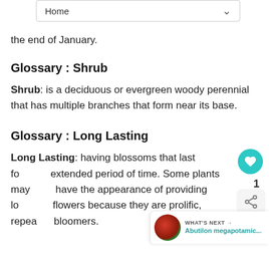[Figure (screenshot): Dropdown navigation bar showing 'Home' with a down arrow]
the end of January.
Glossary : Shrub
Shrub: is a deciduous or evergreen woody perennial that has multiple branches that form near its base.
Glossary : Long Lasting
Long Lasting: having blossoms that last for an extended period of time. Some plants may have the appearance of providing long lasting flowers because they are prolific, repeat bloomers.